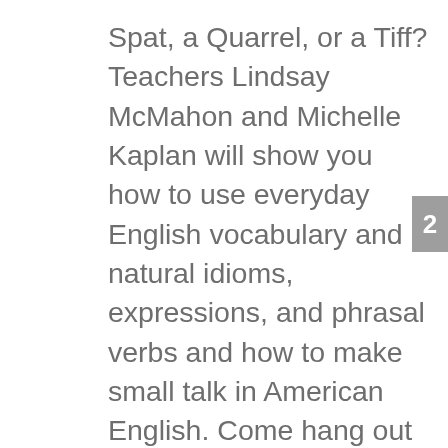Spat, a Quarrel, or a Tiff? Teachers Lindsay McMahon and Michelle Kaplan will show you how to use everyday English vocabulary and natural idioms, expressions, and phrasal verbs and how to make small talk in American English. Come hang out with Lindsay and Michelle from Boston and New York City and have fun while you improve your English listening skills! AEE 1412: What Unique Movie Phrase Can Make Someone Feel Exclusive? We are an English as a Second Language (ESL) podcast for intermediate to advanced English learners around the world. I have just began few days ago but already listened 100 episodes and love it!! Find Out Today, AEE 1433: Get the Lay Of the Land When It Comes to Business English, AEE 1432: The Tiny Words in English That Make a Big Difference, AEE 1431: Get in the Head of Your Audience with your English Presentation, AEE Bonus: Webclass Coming Up Soon! The Wandering Ravens Are Here to Help, AEE 1395: How to Build Your Relationships Virtually and 3 English